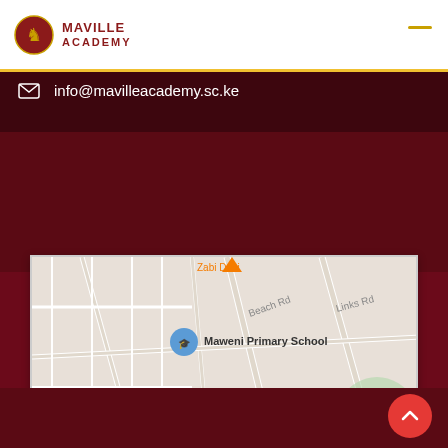MAVILLE ACADEMY
info@mavilleacademy.sc.ke
[Figure (map): Google Maps screenshot showing area around Mamba Village, Nyali, Mombasa, Kenya. Visible landmarks include Maweni Primary School, Wild Waters, Impala Suites, Chop It Express, Nyali Golf & Country Club, Nyali Holiday, with roads including Beach Rd, Links Rd, Makongeni Rd, Bandari Rd.]